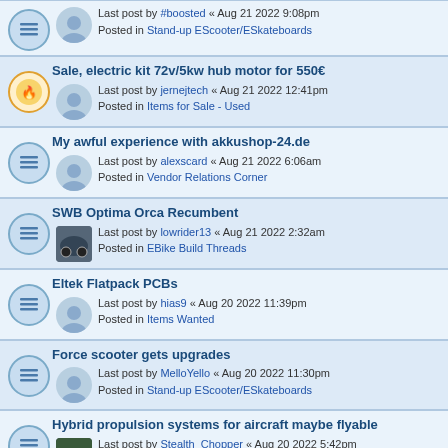faster? Last post by #boosted « Aug 21 2022 9:08pm Posted in Stand-up EScooter/ESkateboards
Sale, electric kit 72v/5kw hub motor for 550€ Last post by jernejtech « Aug 21 2022 12:41pm Posted in Items for Sale - Used
My awful experience with akkushop-24.de Last post by alexscard « Aug 21 2022 6:06am Posted in Vendor Relations Corner
SWB Optima Orca Recumbent Last post by lowrider13 « Aug 21 2022 2:32am Posted in EBike Build Threads
Eltek Flatpack PCBs Last post by hias9 « Aug 20 2022 11:39pm Posted in Items Wanted
Force scooter gets upgrades Last post by MelloYello « Aug 20 2022 11:30pm Posted in Stand-up EScooter/ESkateboards
Hybrid propulsion systems for aircraft maybe flyable Last post by Stealth_Chopper « Aug 20 2022 5:42pm Posted in Electric Aircraft
OSMOTOR + other brands' controllers?